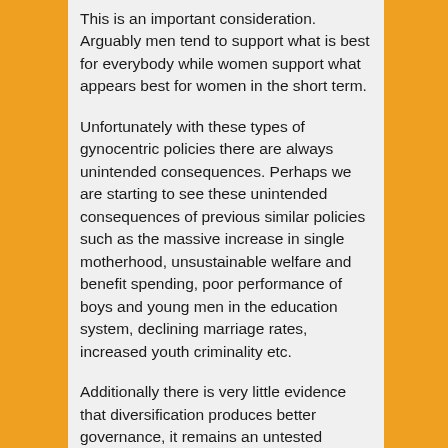This is an important consideration. Arguably men tend to support what is best for everybody while women support what appears best for women in the short term.
Unfortunately with these types of gynocentric policies there are always unintended consequences. Perhaps we are starting to see these unintended consequences of previous similar policies such as the massive increase in single motherhood, unsustainable welfare and benefit spending, poor performance of boys and young men in the education system, declining marriage rates, increased youth criminality etc.
Additionally there is very little evidence that diversification produces better governance, it remains an untested ideology. In fact the available studies and evidence suggest the contrary especially with respect to the